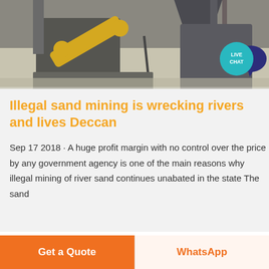[Figure (photo): Industrial mining equipment inside a factory or plant — conveyor belt and large machinery visible.]
[Figure (illustration): Live chat bubble — teal circle with 'LIVE CHAT' text and dark speech bubble icon to the right.]
Illegal sand mining is wrecking rivers and lives Deccan
Sep 17 2018 · A huge profit margin with no control over the price by any government agency is one of the main reasons why illegal mining of river sand continues unabated in the state The sand
Get a Quote
WhatsApp